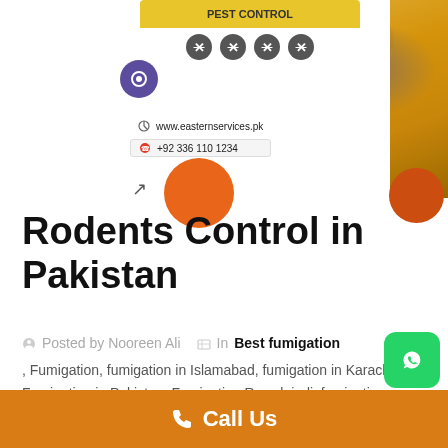[Figure (infographic): Pest control service banner showing a rat on corn cob, with service icons, website www.easternservices.pk and phone +92 336 110 1234, orange decorative circles]
Rodents Control in Pakistan
Posted by Nooreen Ali   In Best fumigation, Fumigation, fumigation in Islamabad, fumigation in Karachi, Fumigation in Pakistan, Fumigation Rawalpindi, fumigation services, Fumigation Services in Rawalpindi,
Call Us